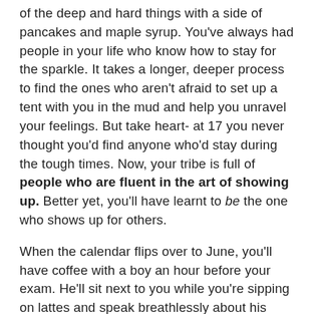of the deep and hard things with a side of pancakes and maple syrup. You've always had people in your life who know how to stay for the sparkle. It takes a longer, deeper process to find the ones who aren't afraid to set up a tent with you in the mud and help you unravel your feelings. But take heart- at 17 you never thought you'd find anyone who'd stay during the tough times. Now, your tribe is full of people who are fluent in the art of showing up. Better yet, you'll have learnt to be the one who shows up for others.
When the calendar flips over to June, you'll have coffee with a boy an hour before your exam. He'll sit next to you while you're sipping on lattes and speak breathlessly about his new business venture and how taking a risk changed his whole life. As the words rush out of his mouth, you'll